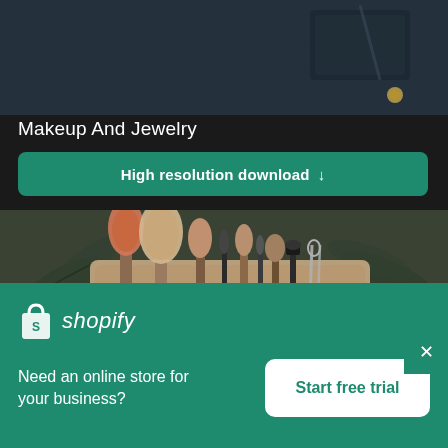[Figure (photo): Dark leather/wallet product photo on dark background]
Makeup And Jewelry
High resolution download ↓
[Figure (photo): Makeup brushes in a case surrounded by fern leaves on dark background]
[Figure (logo): Shopify logo with shopping bag icon and italic shopify text]
Need an online store for your business?
Start free trial